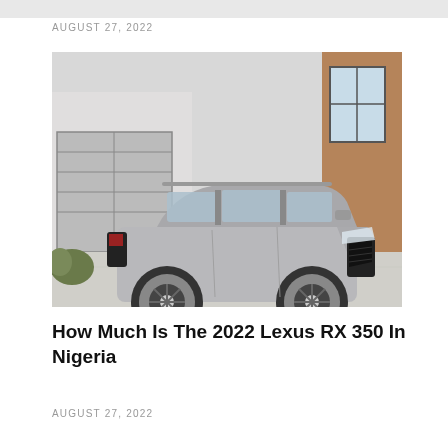AUGUST 27, 2022
[Figure (photo): A silver 2022 Lexus RX 350 SUV parked in a driveway in front of a modern house with large windows and wood cladding]
How Much Is The 2022 Lexus RX 350 In Nigeria
AUGUST 27, 2022